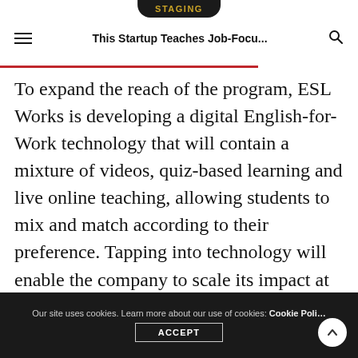STAGING
This Startup Teaches Job-Focu...
To expand the reach of the program, ESL Works is developing a digital English-for-Work technology that will contain a mixture of videos, quiz-based learning and live online teaching, allowing students to mix and match according to their preference. Tapping into technology will enable the company to scale its impact at an affordable cost. “The food industry is one of the biggest employers in our country,” says Burger, “and I think if we can make changes there, we can make this
Our site uses cookies. Learn more about our use of cookies: Cookie Poli… ACCEPT